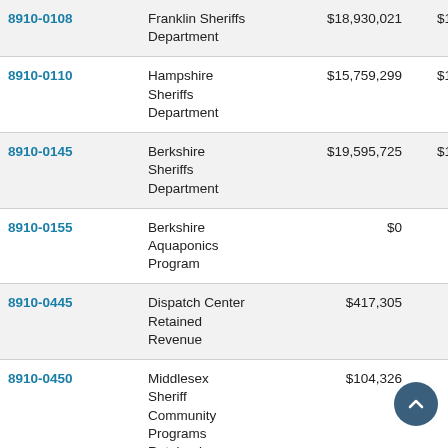| Account | Name | FY Prior | FY Current |
| --- | --- | --- | --- |
| 8910-0108 | Franklin Sheriffs Department | $18,930,021 | $19,157,703 |
| 8910-0110 | Hampshire Sheriffs Department | $15,759,299 | $15,943,489 |
| 8910-0145 | Berkshire Sheriffs Department | $19,595,725 | $19,285,051 |
| 8910-0155 | Berkshire Aquaponics Program | $0 | $150,000 |
| 8910-0445 | Dispatch Center Retained Revenue | $417,305 | $400,000 |
| 8910-0450 | Middlesex Sheriff Community Programs Retained Revenue | $104,326 | $100,000 |